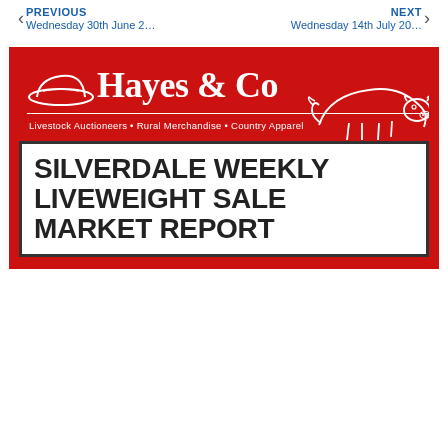PREVIOUS
Wednesday 30th June 2…
NEXT
Wednesday 14th July 20…
[Figure (logo): Hayes & Co Livestock Auctioneers logo on red background with white hat icon, cow illustration, and tagline: Livestock Auctioneers • Rural Merchandise • Country Apparel]
SILVERDALE WEEKLY LIVEWEIGHT SALE MARKET REPORT